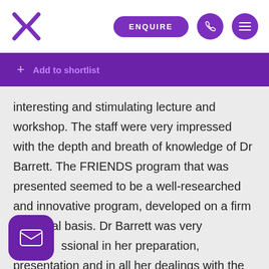ENQUIRE
Add to shortlist
interesting and stimulating lecture and workshop. The staff were very impressed with the depth and breath of knowledge of Dr Barrett. The FRIENDS program that was presented seemed to be a well-researched and innovative program, developed on a firm empirical basis. Dr Barrett was very professional in her preparation, presentation and in all her dealings with the school.